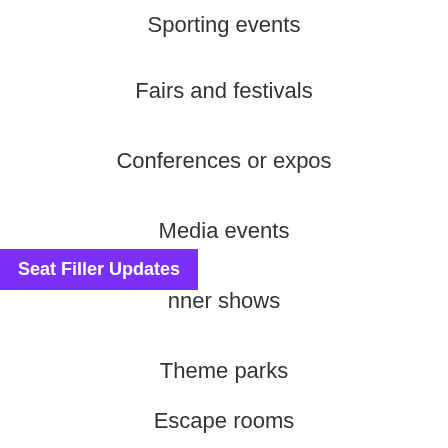Sporting events
Fairs and festivals
Conferences or expos
Media events
Dinner shows
Theme parks
Escape rooms
Seat Filler Updates